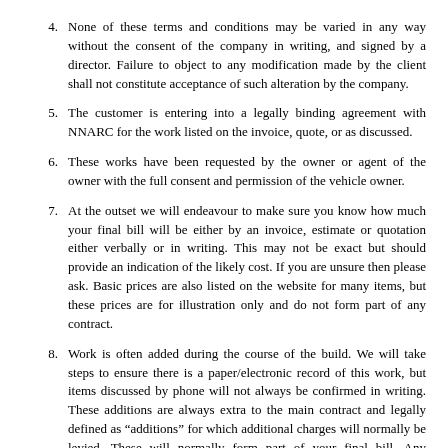4. None of these terms and conditions may be varied in any way without the consent of the company in writing, and signed by a director. Failure to object to any modification made by the client shall not constitute acceptance of such alteration by the company.
5. The customer is entering into a legally binding agreement with NNARC for the work listed on the invoice, quote, or as discussed.
6. These works have been requested by the owner or agent of the owner with the full consent and permission of the vehicle owner.
7. At the outset we will endeavour to make sure you know how much your final bill will be either by an invoice, estimate or quotation either verbally or in writing. This may not be exact but should provide an indication of the likely cost. If you are unsure then please ask. Basic prices are also listed on the website for many items, but these prices are for illustration only and do not form part of any contract.
8. Work is often added during the course of the build. We will take steps to ensure there is a paper/electronic record of this work, but items discussed by phone will not always be confirmed in writing. These additions are always extra to the main contract and legally defined as “additions” for which additional charges will normally be levied. These will normally form part of your final bill. Any additions are also subject to these terms and conditions.
9. You should also be aware that some projects are discounted for various reasons and that sometimes a project cancelled or suspended prior to